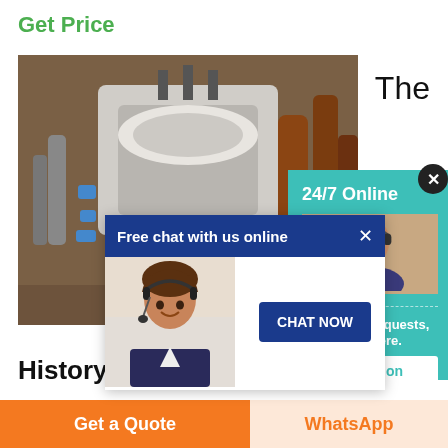Get Price
[Figure (photo): Industrial steel machinery/equipment photo with heavy metal parts in brownish-grey tones]
The
[Figure (screenshot): Free chat popup overlay with blue header 'Free chat with us online', a customer service woman with headset, and a 'CHAT NOW' blue button]
[Figure (infographic): Teal 24/7 Online panel on the right with a person wearing headset, 'Have any requests, click here.' text, a Quotation button, and a close X circle button]
History of Steel Production
Daily life in Braddock was closely tied to the working men at the steelworks which fluctuated throughout years according to the whims of Carnegie and the
Get a Quote
WhatsApp